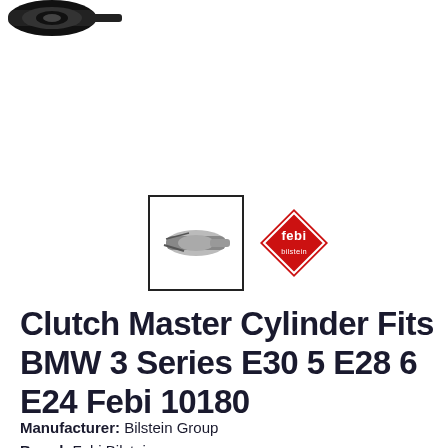[Figure (photo): Top-left partial product photo showing a black clutch master cylinder part against white background]
[Figure (photo): Thumbnail image of product (clutch master cylinder) in a bordered box]
[Figure (logo): Febi Bilstein brand logo — red diamond shape with 'febi bilstein' text in white]
Clutch Master Cylinder Fits BMW 3 Series E30 5 E28 6 E24 Febi 10180
Manufacturer: Bilstein Group
Brand: Febi Bilstein